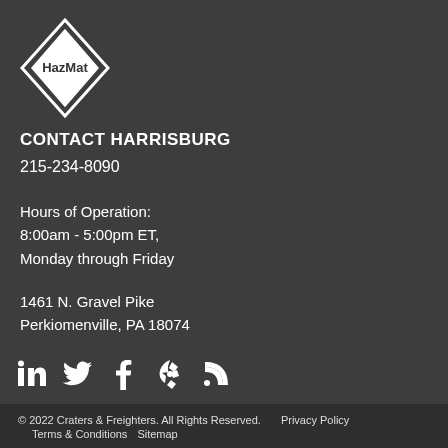[Figure (logo): HazMat diamond logo — a diamond/rhombus shape with 'HazMat' text inside]
CONTACT HARRISBURG
215-234-8090
Hours of Operation:
8:00am - 5:00pm ET,
Monday through Friday
1461 N. Gravel Pike
Perkiomenville, PA 18074
[Figure (infographic): Social media icons: LinkedIn, Twitter, Facebook, Yelp, RSS feed]
© 2022 Craters & Freighters. All Rights Reserved.    Privacy Policy    Terms & Conditions    Sitemap